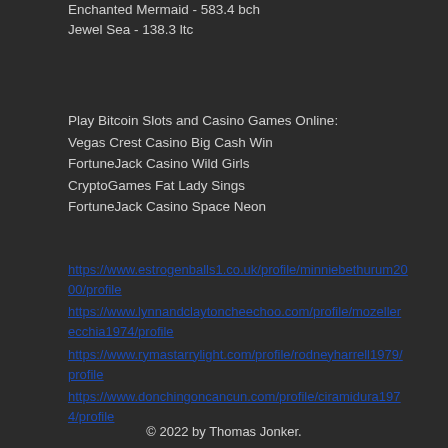Enchanted Mermaid - 583.4 bch
Jewel Sea - 138.3 ltc
Play Bitcoin Slots and Casino Games Online:
Vegas Crest Casino Big Cash Win
FortuneJack Casino Wild Girls
CryptoGames Fat Lady Sings
FortuneJack Casino Space Neon
https://www.estrogenballs1.co.uk/profile/minniebethurum2000/profile
https://www.lynnandclaytoncheechoo.com/profile/mozellerecchia1974/profile
https://www.rymastarrylight.com/profile/rodneyharrell1979/profile
https://www.donchingoncancun.com/profile/ciramidura1974/profile
© 2022 by Thomas Jonker.